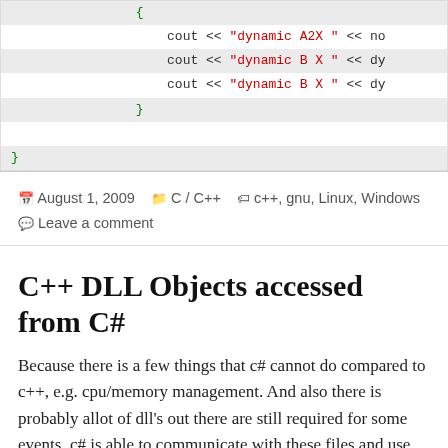[Figure (screenshot): Code block showing C++ output statements with cout, dynamic A2X and dynamic B X strings, closing braces, syntax-highlighted in green and red on gray background]
August 1, 2009  C / C++  c++, gnu, Linux, Windows  Leave a comment
C++ DLL Objects accessed from C#
Because there is a few things that c# cannot do compared to c++, e.g. cpu/memory management. And also there is probably allot of dll's out there are still required for some events, c# is able to communicate with these files and use there functions within the